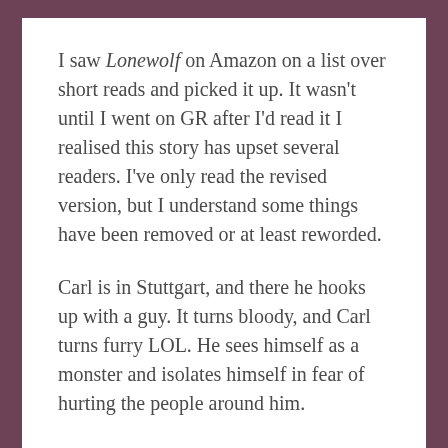I saw Lonewolf on Amazon on a list over short reads and picked it up. It wasn't until I went on GR after I'd read it I realised this story has upset several readers. I've only read the revised version, but I understand some things have been removed or at least reworded.
Carl is in Stuttgart, and there he hooks up with a guy. It turns bloody, and Carl turns furry LOL. He sees himself as a monster and isolates himself in fear of hurting the people around him.
Years later he's going back to search for the man who turned him, but he's coming up empty. He finds something else…or perhaps I